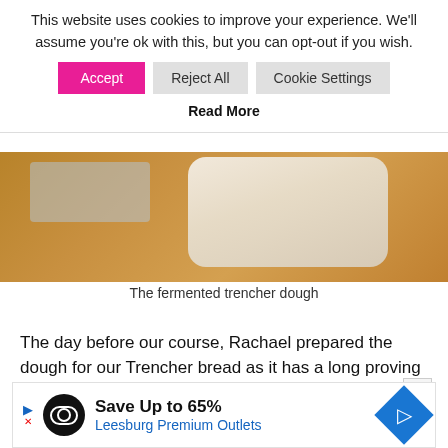This website uses cookies to improve your experience. We'll assume you're ok with this, but you can opt-out if you wish.
[Figure (photo): Photo of fermented trencher dough in a white/cream container on a wooden surface, partially visible]
The fermented trencher dough
The day before our course, Rachael prepared the dough for our Trencher bread as it has a long proving time, 12-30 hours. Trencher bread uses ale or cider and a malted or granary flour to give it depth. The dough is creamy fragrant and speckled. Its final proof is in a banneton to go give it shape before it is rolled into a dutch oven, scored with a bread lame – a